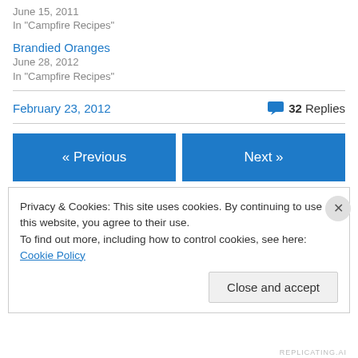June 15, 2011
In "Campfire Recipes"
Brandied Oranges
June 28, 2012
In "Campfire Recipes"
February 23, 2012
32 Replies
« Previous
Next »
Privacy & Cookies: This site uses cookies. By continuing to use this website, you agree to their use.
To find out more, including how to control cookies, see here: Cookie Policy
Close and accept